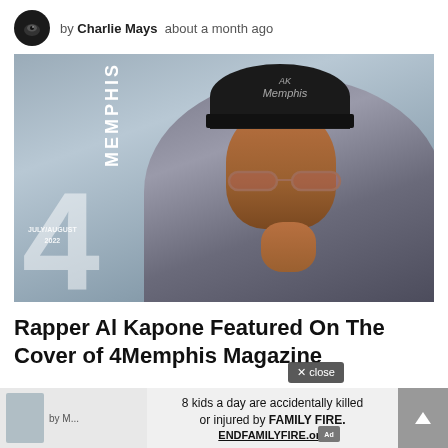by Charlie Mays   about a month ago
[Figure (photo): Magazine cover for 4Memphis Magazine, July/August 2022 issue, featuring rapper Al Kapone wearing a black cap with Memphis branding, sunglasses, and a grey patterned blazer, posed with hand on chin against a grey background. Large white number 4 and vertical MEMPHIS text visible on the cover.]
Rapper Al Kapone Featured On The Cover of 4Memphis Magazine
by M...
8 kids a day are accidentally killed or injured by FAMILY FIRE. ENDFAMILYFIRE.org
× close